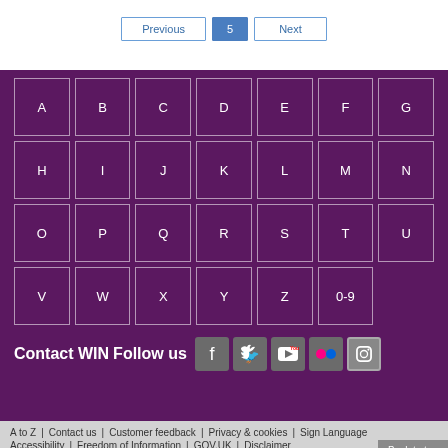Previous | 5 | Next
[Figure (other): A-Z alphabet navigation grid with letters A-Z and 0-9 on purple background, arranged in 4 rows of 7 cells each]
Contact WIN Follow us
A to Z | Contact us | Customer feedback | Privacy & cookies | Sign Language | Accessibility | Freedom of Information | GOV.UK | Disclaimer | Back to top | ©City of Wolverhampton Council